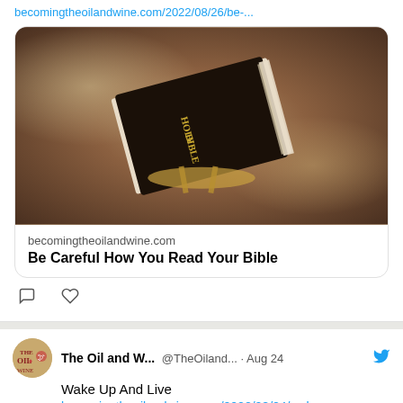becomingtheoilandwine.com/2022/08/26/be-...
[Figure (photo): Photo of a black Holy Bible resting on a decorative stand with bokeh background]
becomingtheoilandwine.com
Be Careful How You Read Your Bible
The Oil and W... @TheOiland... · Aug 24
Wake Up And Live
becomingtheoilandwine.com/2022/08/24/wak...
[Figure (photo): Partial photo of a person, cropped at top of frame]